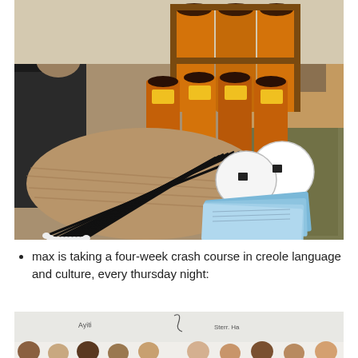[Figure (photo): Color photograph showing a woven ottoman/coffee table with multiple bongo/conga drums in orange packaging stacked in the background, drumsticks fanned out on the table surface, two white circular drum pads, and several light blue booklets/cards, set in a living room with a black leather sofa and patterned rug.]
max is taking a four-week crash course in creole language and culture, every thursday night:
[Figure (photo): Black and white photograph showing a group of people seated in a classroom setting in front of a whiteboard with handwriting on it.]